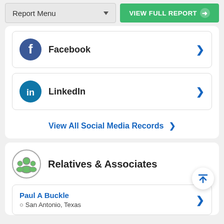[Figure (screenshot): Report Menu dropdown button on the left]
[Figure (screenshot): VIEW FULL REPORT green button on the right]
Facebook
LinkedIn
View All Social Media Records >
Relatives & Associates
Paul A Buckle
San Antonio, Texas